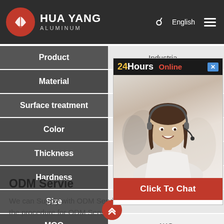[Figure (logo): Hua Yang Aluminum logo with red sailboat icon and white text on dark header]
| Product |  |
| --- | --- |
| Product | Industria... |
| Material | 6063 |
| Surface treatment |  |
| Color | Sil... |
| Thickness |  |
| Hardness |  |
| Size |  |
| MOQ | 1KG |
[Figure (photo): Chat popup overlay showing '24Hours Online' banner, woman with headset customer service photo, and 'Click To Chat' red button]
ODM Servie
We can Supply with ODM Service for our customers. Here is the procedure for ODM Service: